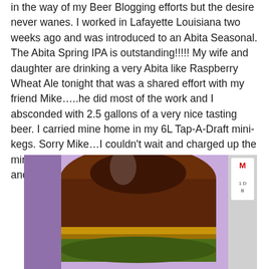in the way of my Beer Blogging efforts but the desire never wanes. I worked in Lafayette Louisiana two weeks ago and was introduced to an Abita Seasonal. The Abita Spring IPA is outstanding!!!!! My wife and daughter are drinking a very Abita like Raspberry Wheat Ale tonight that was a shared effort with my friend Mike…..he did most of the work and I absconded with 2.5 gallons of a very nice tasting beer. I carried mine home in my 6L Tap-A-Draft mini-kegs. Sorry Mike…I couldn't wait and charged up the mini-keg and my wife is happy. She says it is smooth and silky on the tongue!
[Figure (photo): Close-up photo of the top portion of a large amber/brown bottle (likely a Tap-A-Draft 6L mini-keg) with a gold band and green label visible at the bottom, set against a purple/grey background. A partial sign is visible on the right edge.]